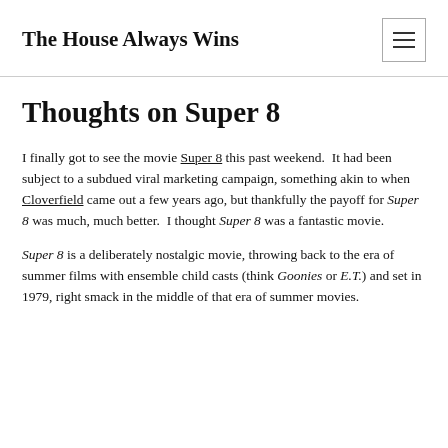The House Always Wins
Thoughts on Super 8
I finally got to see the movie Super 8 this past weekend.  It had been subject to a subdued viral marketing campaign, something akin to when Cloverfield came out a few years ago, but thankfully the payoff for Super 8 was much, much better.  I thought Super 8 was a fantastic movie.
Super 8 is a deliberately nostalgic movie, throwing back to the era of summer films with ensemble child casts (think Goonies or E.T.) and set in 1979, right smack in the middle of that era of summer movies.